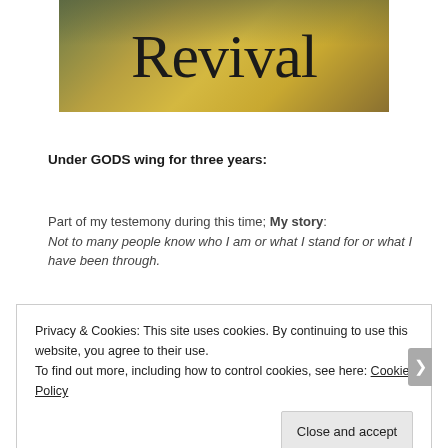[Figure (photo): Banner image with golden-brown gradient background and large text 'Revival' in dark serif font]
Under GODS wing for three years:
Part of my testemony during this time; My story: Not to many people know who I am or what I stand for or what I have been through.
Privacy & Cookies: This site uses cookies. By continuing to use this website, you agree to their use.
To find out more, including how to control cookies, see here: Cookie Policy
[Close and accept]